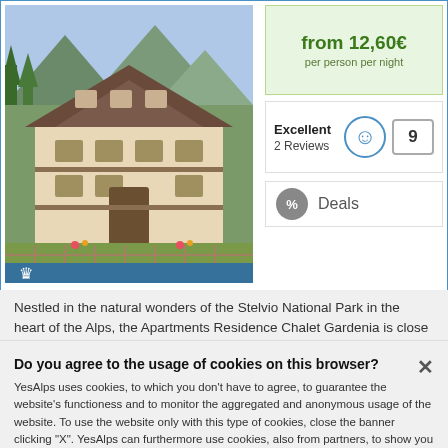[Figure (photo): Chalet-style Alpine apartment building surrounded by trees and mountains]
from 12,60€
per person per night
Excellent
2 Reviews
9
% Deals
Nestled in the natural wonders of the Stelvio National Park in the heart of the Alps, the Apartments Residence Chalet Gardenia is close to the arc of Bormio, the sports centre with soccer field, basketball...
Do you agree to the usage of cookies on this browser?
YesAlps uses cookies, to which you don't have to agree, to guarantee the website's functioness and to monitor the aggregated and anonymous usage of the website. To use the website only with this type of cookies, close the banner clicking "X". YesAlps can furthermore use cookies, also from partners, to show you relevant advertising and potential social media content. By tapping "Agree" you express consent to the usage of all of these cookies and can adjust it by going to "Preferences". For more information, please read the Privacy Policy.
Preferences
Agree